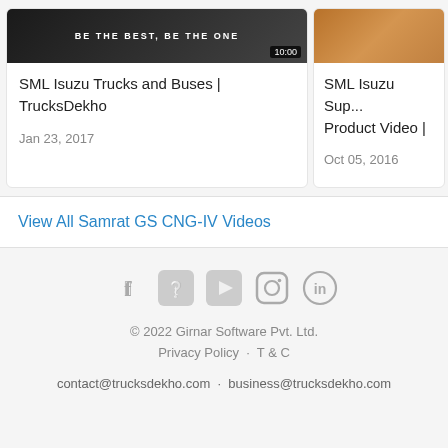[Figure (screenshot): Video thumbnail with text 'BE THE BEST, BE THE ONE' and timer 10:00]
SML Isuzu Trucks and Buses | TrucksDekho
Jan 23, 2017
[Figure (photo): Partial video thumbnail showing wooden/brown surface]
SML Isuzu Sup... Product Video |
Oct 05, 2016
View All Samrat GS CNG-IV Videos
[Figure (infographic): Social media icons: Facebook, Twitter, YouTube, Instagram, LinkedIn]
© 2022 Girnar Software Pvt. Ltd.
Privacy Policy · T & C
contact@trucksdekho.com · business@trucksdekho.com